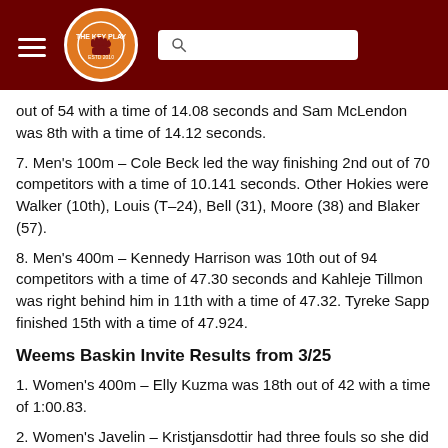The Key Play – header with logo and search bar
out of 54 with a time of 14.08 seconds and Sam McLendon was 8th with a time of 14.12 seconds.
7. Men's 100m – Cole Beck led the way finishing 2nd out of 70 competitors with a time of 10.141 seconds. Other Hokies were Walker (10th), Louis (T–24), Bell (31), Moore (38) and Blaker (57).
8. Men's 400m – Kennedy Harrison was 10th out of 94 competitors with a time of 47.30 seconds and Kahleje Tillmon was right behind him in 11th with a time of 47.32. Tyreke Sapp finished 15th with a time of 47.924.
Weems Baskin Invite Results from 3/25
1. Women's 400m – Elly Kuzma was 18th out of 42 with a time of 1:00.83.
2. Women's Javelin – Kristjansdottir had three fouls so she did not record a distance.
3. Women's...